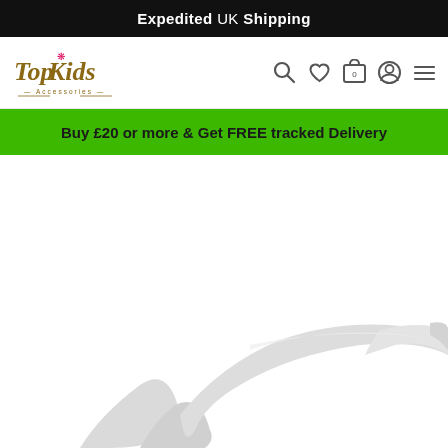Expedited UK Shipping
[Figure (logo): Top Kids Accessories cursive gold logo with pink bow]
Buy £20 or more & Get FREE tracked Delivery
[Figure (photo): White/light grey padded headband product photo on white background]